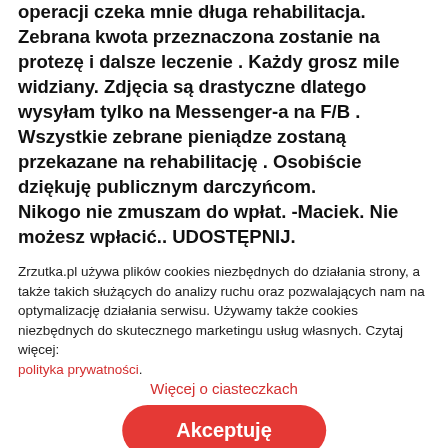operacji czeka mnie długa rehabilitacja. Zebrana kwota przeznaczona zostanie na protezę i dalsze leczenie . Każdy grosz mile widziany. Zdjęcia są drastyczne dlatego wysyłam tylko na Messenger-a na F/B . Wszystkie zebrane pieniądze zostaną przekazane na rehabilitację . Osobiście dziękuję publicznym darczyńcom.
Nikogo nie zmuszam do wpłat. -Maciek. Nie możesz wpłacić.. UDOSTĘPNIJ.
Zrzutka.pl używa plików cookies niezbędnych do działania strony, a także takich służących do analizy ruchu oraz pozwalających nam na optymalizację działania serwisu. Używamy także cookies niezbędnych do skutecznego marketingu usług własnych. Czytaj więcej: polityka prywatności.
Więcej o ciasteczkach
Akceptuję